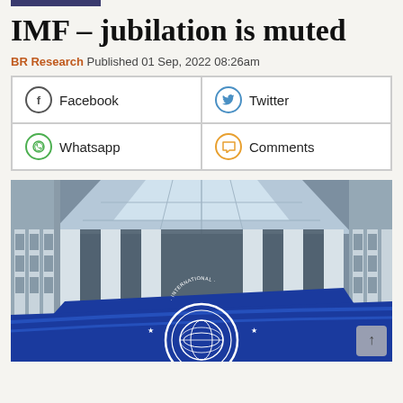IMF – jubilation is muted
BR Research Published 01 Sep, 2022 08:26am
[Figure (photo): Upward view of IMF headquarters building with glass ceiling and large blue IMF flag banner in the foreground showing the International Monetary Fund logo]
Facebook | Twitter | Whatsapp | Comments